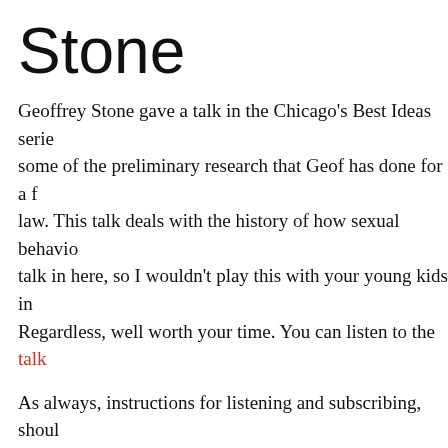Stone
Geoffrey Stone gave a talk in the Chicago's Best Ideas serie... some of the preliminary research that Geof has done for a f... law. This talk deals with the history of how sexual behavio... talk in here, so I wouldn't play this with your young kids in... Regardless, well worth your time. You can listen to the talk
As always, instructions for listening and subscribing, shoul... his talk is below the fold.
Sexing the Constitution
What is the proper role of sexuality in constitutional law? T... art, of a right to use contraceptives, or a right to abortion, o... Professor Geoffrey Stone will attempt to address those que... 2,000 years of history. He asks why do we have the sexual... they are not natural and inevitable, do we have an obligatio... this endeavor?